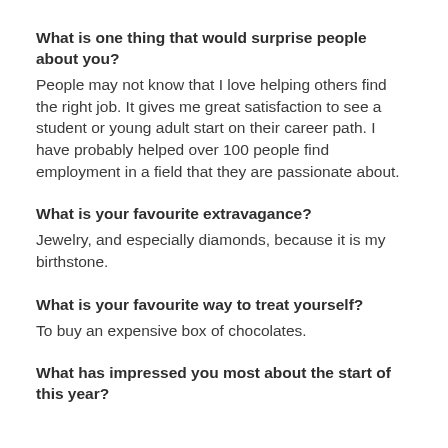What is one thing that would surprise people about you?
People may not know that I love helping others find the right job. It gives me great satisfaction to see a student or young adult start on their career path. I have probably helped over 100 people find employment in a field that they are passionate about.
What is your favourite extravagance?
Jewelry, and especially diamonds, because it is my birthstone.
What is your favourite way to treat yourself?
To buy an expensive box of chocolates.
What has impressed you most about the start of this year?